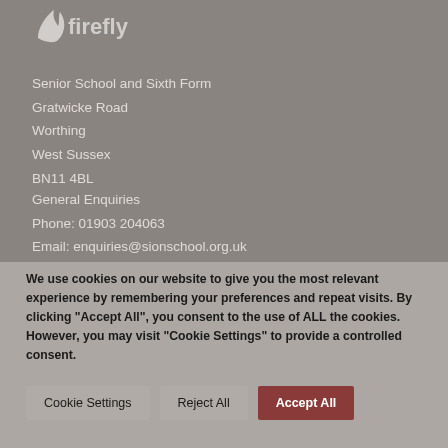[Figure (logo): Firefly logo with stylized flame/leaf icon and 'firefly' text in white]
Senior School and Sixth Form
Gratwicke Road
Worthing
West Sussex
BN11 4BL
General Enquiries
Phone: 01903 204063
Email: enquiries@sionschool.org.uk
We use cookies on our website to give you the most relevant experience by remembering your preferences and repeat visits. By clicking “Accept All”, you consent to the use of ALL the cookies. However, you may visit "Cookie Settings" to provide a controlled consent.
Cookie Settings
Reject All
Accept All